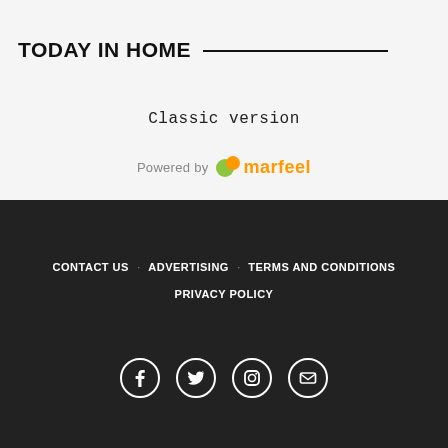TODAY IN HOME
Classic version
Powered by marfeel
CONTACT US  ADVERTISING  TERMS AND CONDITIONS  PRIVACY POLICY
[Figure (infographic): Social media icons: Facebook, Twitter, Instagram, Email]